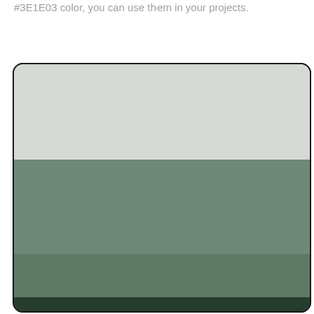#3E1E03 color, you can use them in your projects.
[Figure (illustration): Color palette swatch showing three horizontal bands of color inside a rounded rectangle with dark border: top band is light gray (#D6DAD6), middle band is muted sage green (#708B7A), bottom band is darker sage green (#607A68), with a very dark green strip at the very bottom.]